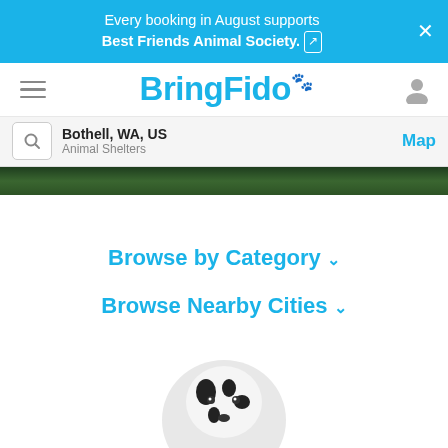Every booking in August supports Best Friends Animal Society.
BringFido
Bothell, WA, US | Animal Shelters | Map
[Figure (photo): Dark green foliage hero image banner]
Browse by Category ∨
Browse Nearby Cities ∨
[Figure (photo): Dalmatian dog portrait in circular frame at bottom of page]